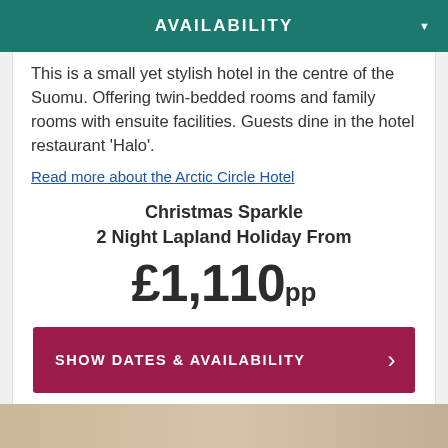AVAILABILITY
This is a small yet stylish hotel in the centre of the Suomu. Offering twin-bedded rooms and family rooms with ensuite facilities. Guests dine in the hotel restaurant 'Halo'.
Read more about the Arctic Circle Hotel
Christmas Sparkle
2 Night Lapland Holiday From
£1,110pp
SHOW DATES & AVAILABILITY